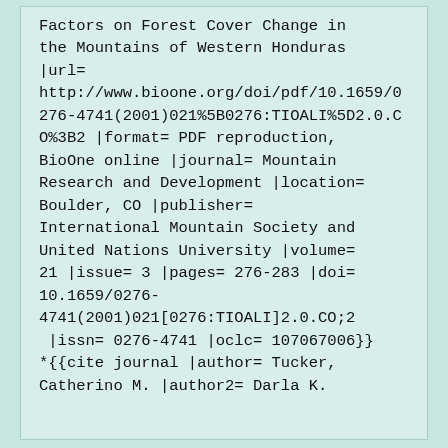Factors on Forest Cover Change in the Mountains of Western Honduras |url= http://www.bioone.org/doi/pdf/10.1659/0276-4741(2001)021%5B0276:TIOALI%5D2.0.CO%3B2 |format= PDF reproduction, BioOne online |journal= Mountain Research and Development |location= Boulder, CO |publisher= International Mountain Society and United Nations University |volume= 21 |issue= 3 |pages= 276-283 |doi= 10.1659/0276-4741(2001)021[0276:TIOALI]2.0.CO;2 |issn= 0276-4741 |oclc= 107067006}} *{{cite journal |author= Tucker, Catherino M. |author2= Darla K.